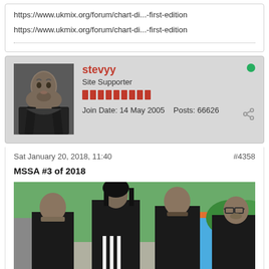https://www.ukmix.org/forum/chart-di...-first-edition
https://www.ukmix.org/forum/chart-di...-first-edition
stevyy — Site Supporter — Join Date: 14 May 2005   Posts: 66626
Sat January 20, 2018, 11:40   #4358
MSSA #3 of 2018
[Figure (photo): Band photo of four members in black clothing, one woman with dark hair and three men with beards/stubble, standing in front of a blue building exterior]